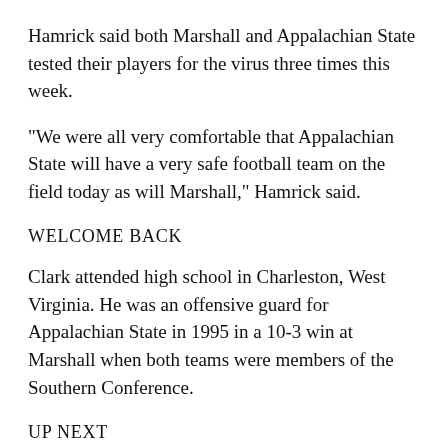Hamrick said both Marshall and Appalachian State tested their players for the virus three times this week.
“We were all very comfortable that Appalachian State will have a very safe football team on the field today as will Marshall,” Hamrick said.
WELCOME BACK
Clark attended high school in Charleston, West Virginia. He was an offensive guard for Appalachian State in 1995 in a 10-3 win at Marshall when both teams were members of the Southern Conference.
UP NEXT
Appalachian State hosts Campbell of the Championship Subdivision next Saturday. The Mountaineers have an Oct. 7 Sun Belt Conference showdown at home against No. 19 Louisiana-Lafayette.